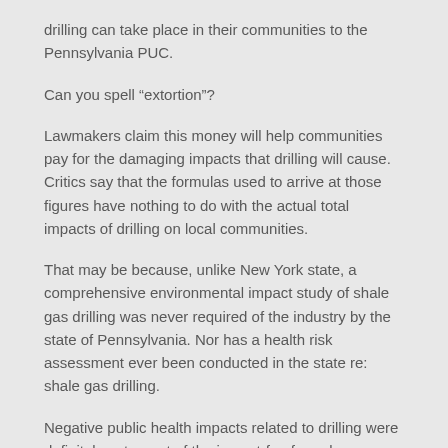drilling can take place in their communities to the Pennsylvania PUC.
Can you spell “extortion”?
Lawmakers claim this money will help communities pay for the damaging impacts that drilling will cause. Critics say that the formulas used to arrive at those figures have nothing to do with the actual total impacts of drilling on local communities.
That may be because, unlike New York state, a comprehensive environmental impact study of shale gas drilling was never required of the industry by the state of Pennsylvania. Nor has a health risk assessment ever been conducted in the state re: shale gas drilling.
Negative public health impacts related to drilling were definitely not a part of the impact-fee formula.